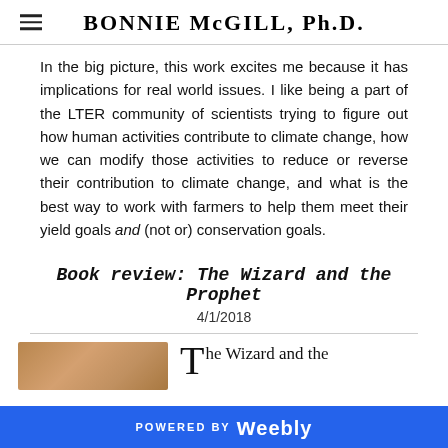BONNIE McGILL, Ph.D.
In the big picture, this work excites me because it has implications for real world issues. I like being a part of the LTER community of scientists trying to figure out how human activities contribute to climate change, how we can modify those activities to reduce or reverse their contribution to climate change, and what is the best way to work with farmers to help them meet their yield goals and (not or) conservation goals.
Book review: The Wizard and the Prophet
4/1/2018
[Figure (photo): Photo of a book on a wooden surface, partially visible]
The Wizard and the
POWERED BY weebly